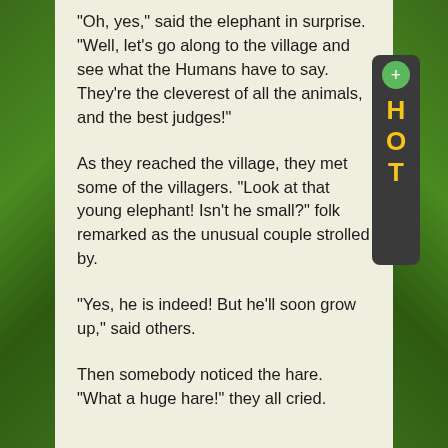"Oh, yes," said the elephant in surprise. "Well, let's go along to the village and see what the Humans have to say. They're the cleverest of all the animals, and the best judges!"
As they reached the village, they met some of the villagers. "Look at that young elephant! Isn't he small?" folk remarked as the unusual couple strolled by.
"Yes, he is indeed! But he'll soon grow up," said others.
Then somebody noticed the hare. "What a huge hare!" they all cried.